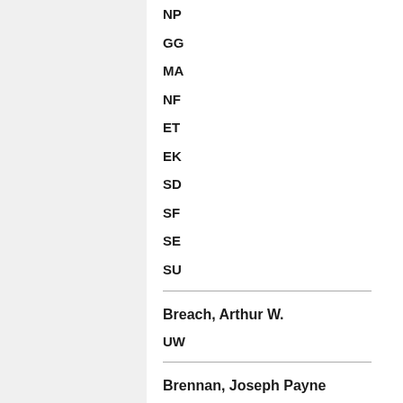NP
GG
MA
NF
ET
EK
SD
SF
SE
SU
Breach, Arthur W.
UW
Brennan, Joseph Payne